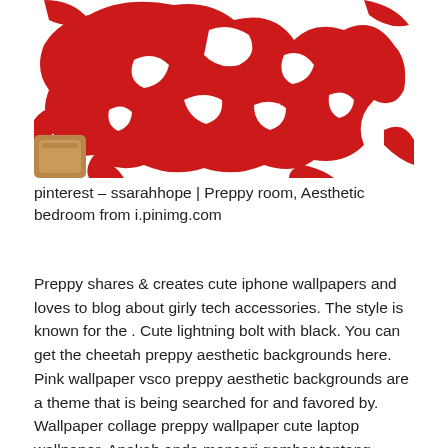[Figure (photo): A photo of a red and white abstract/floral wallpaper pattern on a wall, with a small wooden object visible in the lower left corner.]
pinterest – ssarahhope | Preppy room, Aesthetic bedroom from i.pinimg.com
Preppy shares & creates cute iphone wallpapers and loves to blog about girly tech accessories. The style is known for the . Cute lightning bolt with black. You can get the cheetah preppy aesthetic backgrounds here. Pink wallpaper vsco preppy aesthetic backgrounds are a theme that is being searched for and favored by. Wallpaper collage preppy wallpaper cute laptop wallpaper. Apakah anda mencari gambar tentang wallpaper . Preppy wallpaper for desktop, iphone, ipad, twitter, and fb.